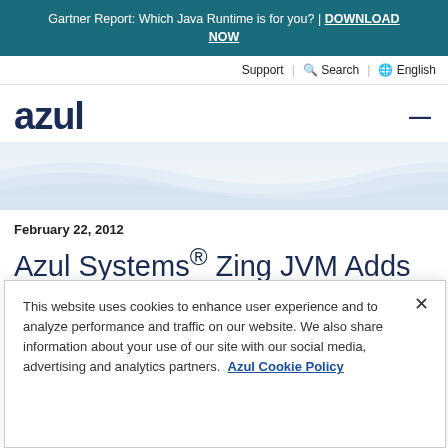Gartner Report: Which Java Runtime is for you? | DOWNLOAD NOW
Support | Search | English
[Figure (logo): Azul company logo in dark navy blue, bold lowercase text 'azul']
February 22, 2012
Azul Systems® Zing JVM Adds Support for SUSE Linux
This website uses cookies to enhance user experience and to analyze performance and traffic on our website. We also share information about your use of our site with our social media, advertising and analytics partners. Azul Cookie Policy